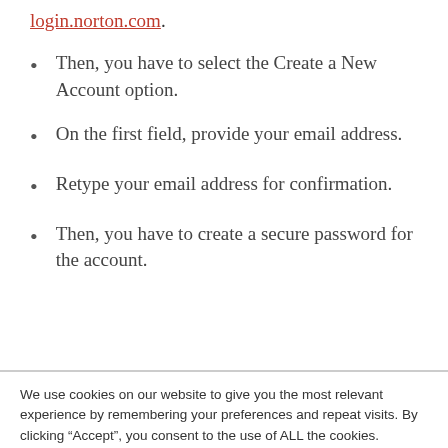login.norton.com.
Then, you have to select the Create a New Account option.
On the first field, provide your email address.
Retype your email address for confirmation.
Then, you have to create a secure password for the account.
We use cookies on our website to give you the most relevant experience by remembering your preferences and repeat visits. By clicking “Accept”, you consent to the use of ALL the cookies.
Cookie settings  ACCEPT